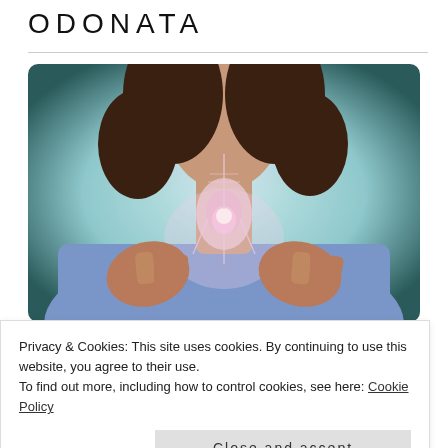ODONATA
[Figure (illustration): Digital illustration of a woman with dark flowing hair wearing a blue top, with a glowing anatomical overlay of the thyroid and throat area visible through her neck and chest, hands raised near chest, soft teal/white background]
PATHS CROSSED
Privacy & Cookies: This site uses cookies. By continuing to use this website, you agree to their use.
To find out more, including how to control cookies, see here: Cookie Policy
Close and accept